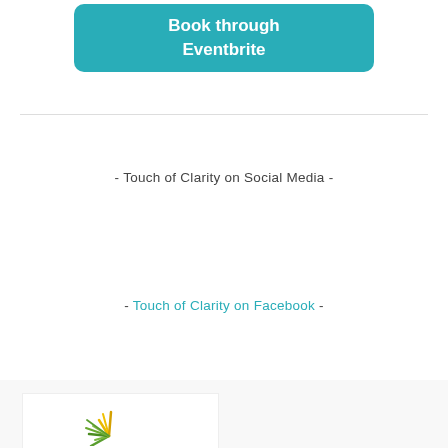[Figure (other): Teal/turquoise rounded rectangle button with white bold text reading 'Book through Eventbrite']
- Touch of Clarity on Social Media -
- Touch of Clarity on Facebook -
[Figure (logo): Touch of Clarity logo with colorful spiky flower/starburst graphic in bottom left footer area]